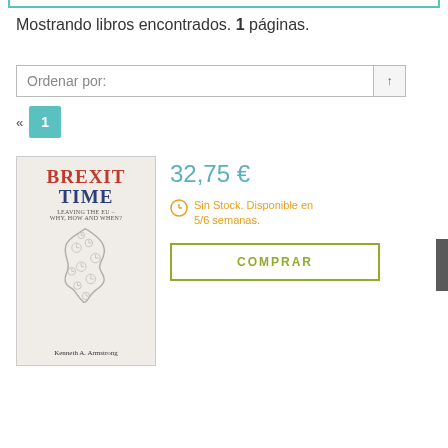Mostrando libros encontrados. 1 páginas.
Ordenar por:
« 1
[Figure (illustration): Book cover of 'Brexit Time: Leaving the EU – Why, How and When?' by Kenneth A. Armstrong. Red bold title 'BREXIT' and blue bold 'TIME', subtitle in smaller text, UK map made of clock illustrations.]
32,75 €
Sin Stock. Disponible en 5/6 semanas.
COMPRAR